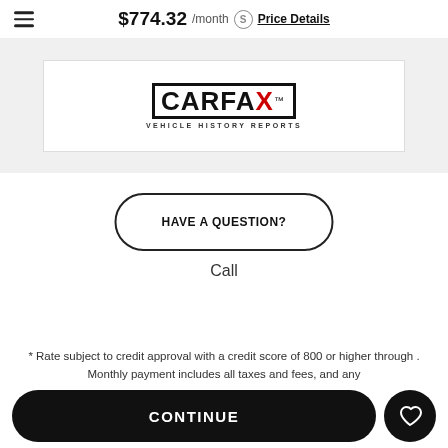$774.32 /month  Price Details
[Figure (logo): CARFAX Vehicle History Reports logo in black and white with red X, inside a white bordered box on a light gray background]
HAVE A QUESTION?
Call
* Rate subject to credit approval with a credit score of 800 or higher through . Monthly payment includes all taxes and fees, and any
CONTINUE